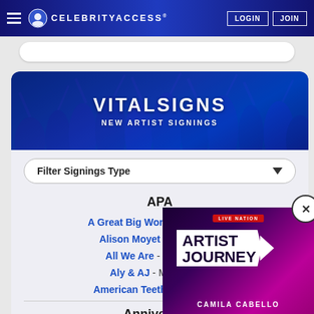CelebrityAccess | LOGIN | JOIN
[Figure (screenshot): VitalSigns New Artist Signings banner with crowd silhouette background]
Filter Signings Type
APA
A Great Big World - Mike Hayes
Alison Moyet - Mike Hayes
All We Are - M...
Aly & AJ - Mi...
American Teeth...
Anniversar...
[Figure (advertisement): Live Nation Artist Journey - Camila Cabello ad overlay with close button]